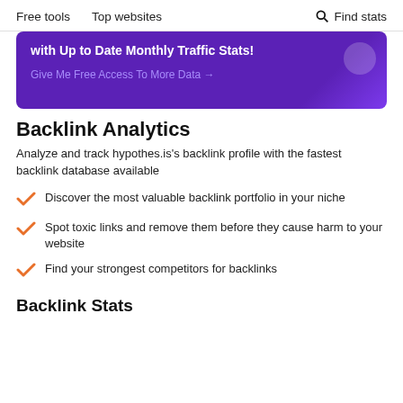Free tools   Top websites   🔍 Find stats
[Figure (screenshot): Purple promotional banner with bold white text 'with Up to Date Monthly Traffic Stats!' and a purple link 'Give Me Free Access To More Data →']
Backlink Analytics
Analyze and track hypothes.is's backlink profile with the fastest backlink database available
Discover the most valuable backlink portfolio in your niche
Spot toxic links and remove them before they cause harm to your website
Find your strongest competitors for backlinks
Backlink Stats